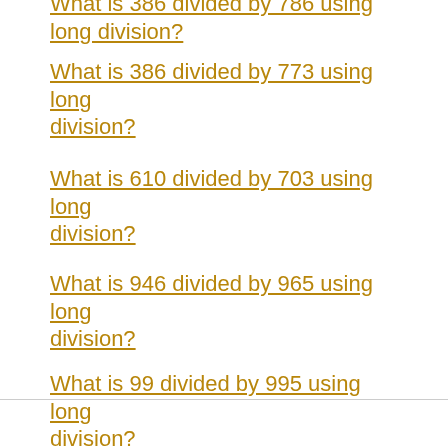What is 386 divided by 773 using long division?
What is 610 divided by 703 using long division?
What is 946 divided by 965 using long division?
What is 99 divided by 995 using long division?